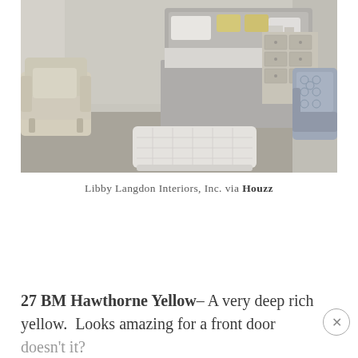[Figure (photo): Interior bedroom photo showing a neutral-toned room with a upholstered bed with yellow accent pillows, a beige armchair on the left, a white tufted ottoman in the center foreground, a dresser with mirror in the background, and a patterned blue-grey accent chair on the right. The room has grey carpet and light grey walls.]
Libby Langdon Interiors, Inc. via Houzz
27 BM Hawthorne Yellow– A very deep rich yellow.  Looks amazing for a front door doesn't it?